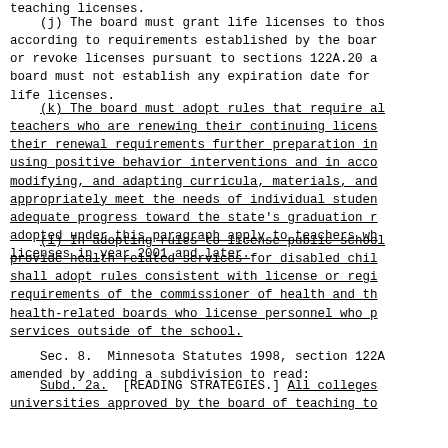teaching licenses.
(j) The board must grant life licenses to those according to requirements established by the board or revoke licenses pursuant to sections 122A.20 a board must not establish any expiration date for life licenses.
(k) The board must adopt rules that require all teachers who are renewing their continuing licenses their renewal requirements further preparation in using positive behavior interventions and in accommodating, modifying, and adapting curricula, materials, and appropriately meet the needs of individual students adequate progress toward the state's graduation requirements adopted under this paragraph apply to teachers who renew licenses in year 2001 and later.
(l) In adopting rules to license public school personnel who provide health-related services for disabled children, the board shall adopt rules consistent with license or registration requirements of the commissioner of health and the health-related boards who license personnel who provide services outside of the school.
Sec. 8. Minnesota Statutes 1998, section 122A, amended by adding a subdivision to read:
Subd. 2a. [READING STRATEGIES.] All colleges and universities approved by the board of teaching to